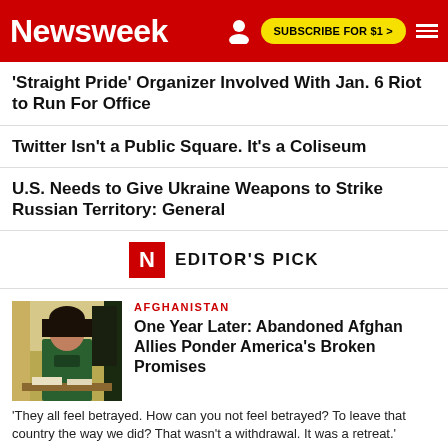Newsweek — SUBSCRIBE FOR $1 >
'Straight Pride' Organizer Involved With Jan. 6 Riot to Run For Office
Twitter Isn't a Public Square. It's a Coliseum
U.S. Needs to Give Ukraine Weapons to Strike Russian Territory: General
N EDITOR'S PICK
[Figure (photo): Photo of a woman in a green outfit seated at a desk with an Afghan flag in the background]
AFGHANISTAN
One Year Later: Abandoned Afghan Allies Ponder America's Broken Promises
'They all feel betrayed. How can you not feel betrayed? To leave that country the way we did? That wasn't a withdrawal. It was a retreat.'
[Figure (photo): Photo showing the back of a person's head with gray/light hair]
ROYAL FAMILY